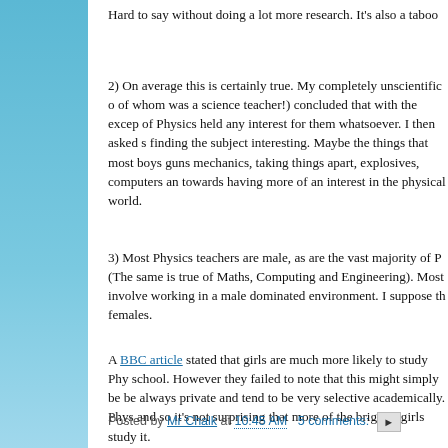Hard to say without doing a lot more research. It's also a taboo
2) On average this is certainly true. My completely unscientific of whom was a science teacher!) concluded that with the excep of Physics held any interest for them whatsoever. I then asked s finding the subject interesting. Maybe the things that most boys guns mechanics, taking things apart, explosives, computers an towards having more of an interest in the physical world.
3) Most Physics teachers are male, as are the vast majority of P (The same is true of Maths, Computing and Engineering). Most involve working in a male dominated environment. I suppose th females.
A BBC article stated that girls are much more likely to study Ph school. However they failed to note that this might simply be be always private and tend to be very selective academically. Phys and so it's not surprising that more of the brighter girls study it.
Finally you could ask- do we actually need more women Physic
Posted by Mr Chalk at 10:45 AM   5 comments: